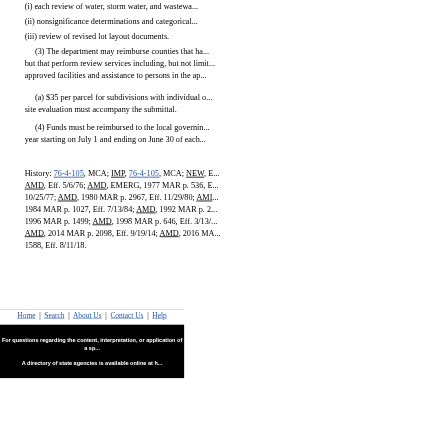(i) each review of water, storm water, and wastewa...
(ii) nonsignificance determinations and categorical...
(iii) review of revised lot layout documents.
(3) The department may reimburse counties that ha... but that perform review services including, but not limi... approved facilities and assistance to persons in the ap...
(a) $35 per parcel for subdivisions with individual o... site evaluation must accompany the submittal.
(4) Funds must be reimbursed to the local governin... year starting on July 1 and ending on June 30 of each...
History: 76-4-105, MCA; IMP, 76-4-105, MCA; NEW, E... AMD, Eff. 5/6/76; AMD, EMERG, 1977 MAR p. 536, E... 10/25/77; AMD, 1980 MAR p. 2967, Eff. 11/29/80; AMI... 1984 MAR p. 1027, Eff. 7/13/84; AMD, 1992 MAR p. 2... 1996 MAR p. 1499; AMD, 1998 MAR p. 646, Eff. 3/13/... AMD, 2014 MAR p. 2098, Eff. 9/19/14; AMD, 2016 MA... 1588, Eff. 8/11/18.
Home | Search | About Us | Contact Us | Help
For questions regarding the content, interpretation, or application of a sp... A directory of state agencies is available online at h... For questions about the organization of the ARM o...